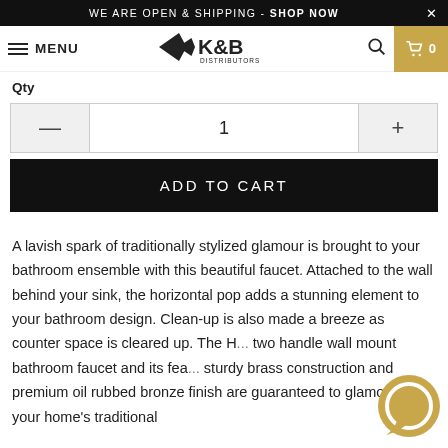WE ARE OPEN & SHIPPING - SHOP NOW
MENU | K&B DISTRIBUTORS
Qty
1
ADD TO CART
A lavish spark of traditionally stylized glamour is brought to your bathroom ensemble with this beautiful faucet. Attached to the wall behind your sink, the horizontal pop adds a stunning element to your bathroom design. Clean-up is also made a breeze as counter space is cleared up. The H... two handle wall mount bathroom faucet and its fea... sturdy brass construction and premium oil rubbed bronze finish are guaranteed to glamorize your home's traditional